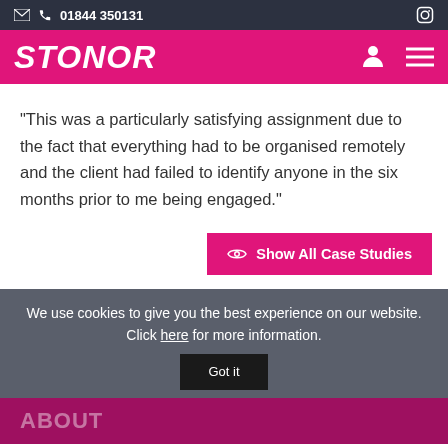01844 350131
STONOR
"This was a particularly satisfying assignment due to the fact that everything had to be organised remotely and the client had failed to identify anyone in the six months prior to me being engaged."
Show All Case Studies
We use cookies to give you the best experience on our website. Click here for more information.
Got it
ABOUT